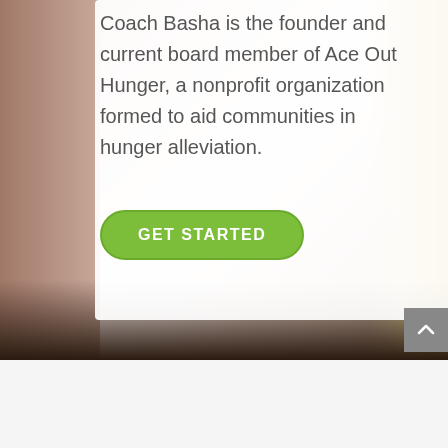[Figure (photo): Blurred background photo showing hands, with warm tones — pinkish/beige in center, darker browns on left, yellowish tones on right, dark area at bottom]
Coach Basha is the founder and current board member of Ace Out Hunger, a nonprofit organization formed to aid communities in hunger alleviation.
GET STARTED